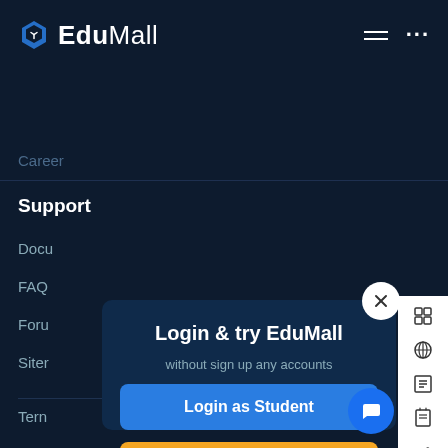EduMall
Support
Docu
FAQ
Foru
Siter
Tern
© 2020 Edumall All Rights Reserved
Login & try EduMall
without sign up any accounts
Login as Student
Login as Instructor